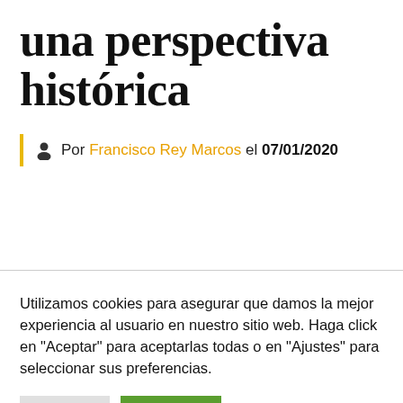una perspectiva histórica
Por Francisco Rey Marcos el 07/01/2020
Utilizamos cookies para asegurar que damos la mejor experiencia al usuario en nuestro sitio web. Haga click en "Aceptar" para aceptarlas todas o en "Ajustes" para seleccionar sus preferencias.